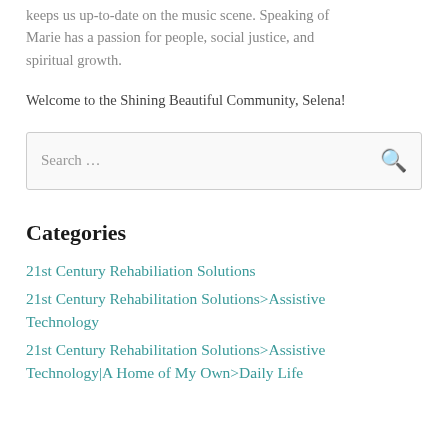keeps us up-to-date on the music scene. Speaking of Marie has a passion for people, social justice, and spiritual growth.
Welcome to the Shining Beautiful Community, Selena!
[Figure (other): Search input box with magnifying glass icon]
Categories
21st Century Rehabiliation Solutions
21st Century Rehabilitation Solutions>Assistive Technology
21st Century Rehabilitation Solutions>Assistive Technology|A Home of My Own>Daily Life